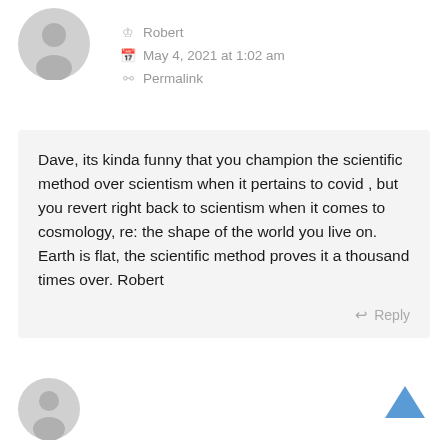[Figure (illustration): Generic user avatar icon (gray silhouette) at top left]
Robert
May 4, 2021 at 1:02 am
Permalink
Dave, its kinda funny that you champion the scientific method over scientism when it pertains to covid , but you revert right back to scientism when it comes to cosmology, re: the shape of the world you live on. Earth is flat, the scientific method proves it a thousand times over. Robert
Reply
[Figure (illustration): Generic user avatar icon (gray silhouette) at bottom left]